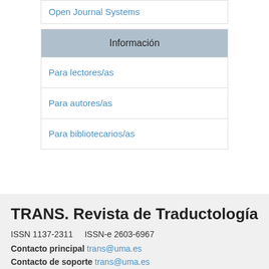Open Journal Systems
Información
Para lectores/as
Para autores/as
Para bibliotecarios/as
TRANS. Revista de Traductología
ISSN 1137-2311      ISSN-e 2603-6967
Contacto principal trans@uma.es
Contacto de soporte trans@uma.es